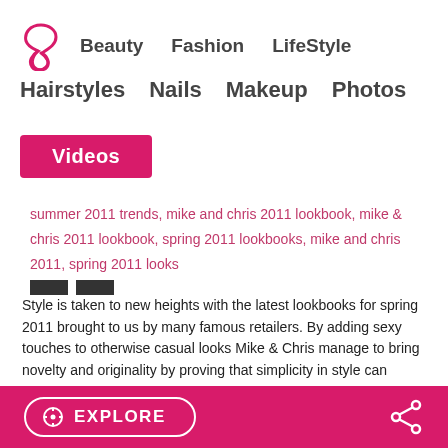Beauty | Fashion | LifeStyle | Hairstyles | Nails | Makeup | Photos
Videos
summer 2011 trends, mike and chris 2011 lookbook, mike & chris 2011 lookbook, spring 2011 lookbooks, mike and chris 2011, spring 2011 looks
Style is taken to new heights with the latest lookbooks for spring 2011 brought to us by many famous retailers. By adding sexy touches to otherwise casual looks Mike & Chris manage to bring novelty and originality by proving that simplicity in style can sometimes be the best answer. Check out the looks presented and pick your favorites! ... Read More
EXPLORE